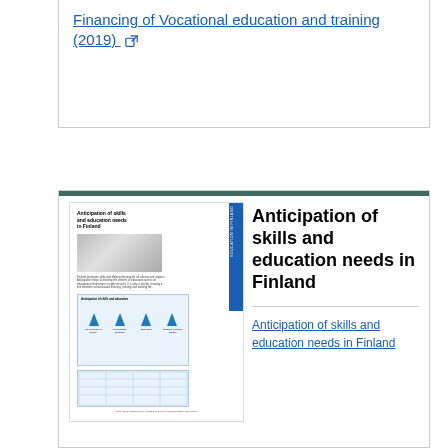Financing of Vocational education and training (2019) [external link]
[Figure (other): Thumbnail preview of the document 'Anticipation of skills and education needs in Finland' showing cover page with hand on keyboard, blue sidebar, body text, arrows diagram, and table.]
Anticipation of skills and education needs in Finland
Anticipation of skills and education needs in Finland